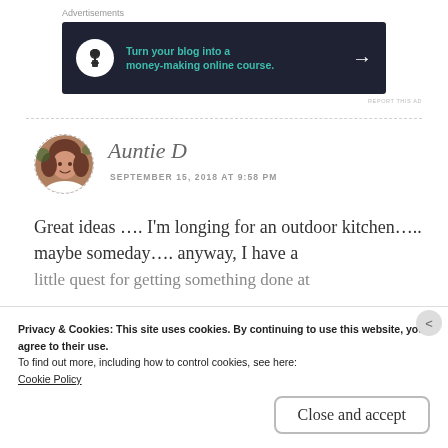Advertisements
[Figure (infographic): Dark navy advertisement banner: bonsai tree icon in white circle, teal text 'Turn your blog into a money-making online course.' with white right arrow]
REPORT THIS AD
Auntie D
SEPTEMBER 15, 2018 AT 9:58 PM
Great ideas …. I'm longing for an outdoor kitchen….. maybe someday…. anyway, I have a little quest for getting something done at
Privacy & Cookies: This site uses cookies. By continuing to use this website, you agree to their use.
To find out more, including how to control cookies, see here:
Cookie Policy
Close and accept